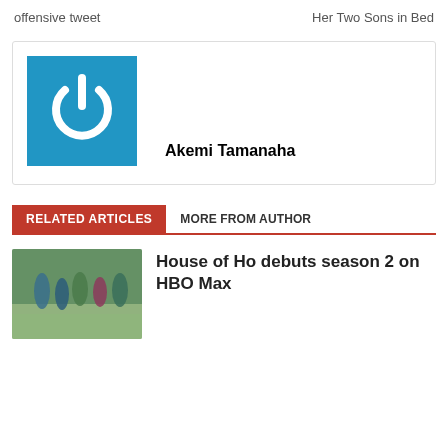offensive tweet | Her Two Sons in Bed
[Figure (logo): Blue square with white power button icon — site logo]
Akemi Tamanaha
RELATED ARTICLES
MORE FROM AUTHOR
[Figure (photo): Group of people outdoors, likely cast of House of Ho]
House of Ho debuts season 2 on HBO Max